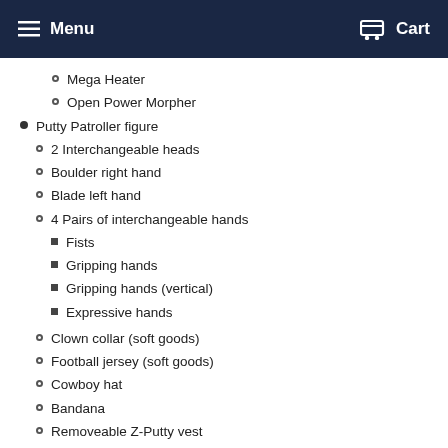Menu  Cart
Mega Heater
Open Power Morpher
Putty Patroller figure
2 Interchangeable heads
Boulder right hand
Blade left hand
4 Pairs of interchangeable hands
Fists
Gripping hands
Gripping hands (vertical)
Expressive hands
Clown collar (soft goods)
Football jersey (soft goods)
Cowboy hat
Bandana
Removeable Z-Putty vest
2 Removeable Z-Putty knee pads
Goldar figure